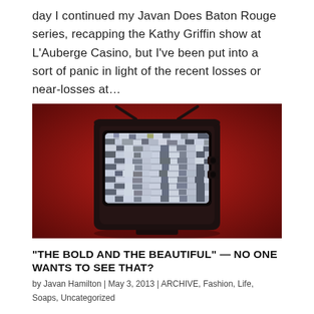day I continued my Javan Does Baton Rouge series, recapping the Kathy Griffin show at L'Auberge Casino, but I've been put into a sort of panic in light of the recent losses or near-losses at…
[Figure (photo): Vintage CRT television set displaying static/snow on screen against a red background]
“THE BOLD AND THE BEAUTIFUL” — NO ONE WANTS TO SEE THAT?
by Javan Hamilton | May 3, 2013 | ARCHIVE, Fashion, Life, Soaps, Uncategorized